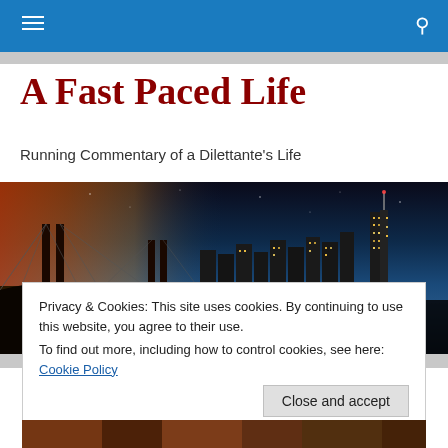Navigation bar with hamburger menu and search icon
A Fast Paced Life
Running Commentary of a Dilettante's Life
[Figure (photo): Panoramic nighttime photo of Brooklyn Bridge and New York City skyline at dusk/twilight, with city lights reflected in the water]
Privacy & Cookies: This site uses cookies. By continuing to use this website, you agree to their use.
To find out more, including how to control cookies, see here: Cookie Policy
[Close and accept]
[Figure (photo): Partial view of a food or nature photo at the bottom of the page]